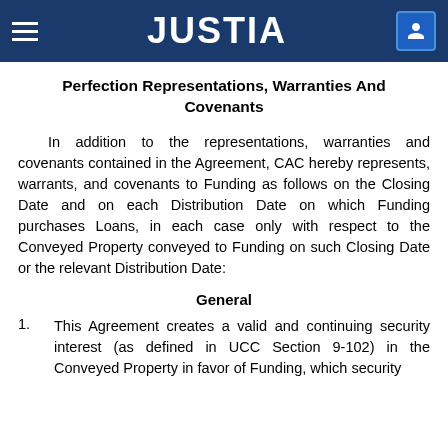JUSTIA
Perfection Representations, Warranties And Covenants
In addition to the representations, warranties and covenants contained in the Agreement, CAC hereby represents, warrants, and covenants to Funding as follows on the Closing Date and on each Distribution Date on which Funding purchases Loans, in each case only with respect to the Conveyed Property conveyed to Funding on such Closing Date or the relevant Distribution Date:
General
1.	This Agreement creates a valid and continuing security interest (as defined in UCC Section 9-102) in the Conveyed Property in favor of Funding, which security